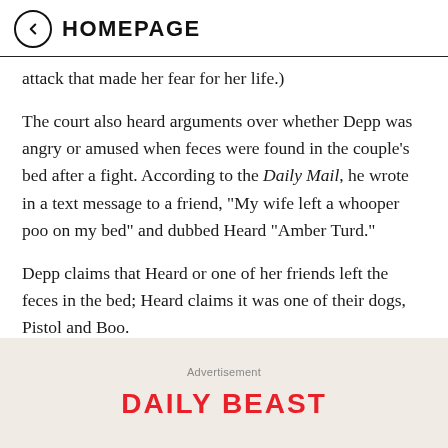HOMEPAGE
attack that made her fear for her life.)
The court also heard arguments over whether Depp was angry or amused when feces were found in the couple’s bed after a fight. According to the Daily Mail, he wrote in a text message to a friend, “My wife left a whooper poo on my bed” and dubbed Heard “Amber Turd.”
Depp claims that Heard or one of her friends left the feces in the bed; Heard claims it was one of their dogs, Pistol and Boo.
Advertisement
[Figure (logo): Daily Beast logo in red bold uppercase text]